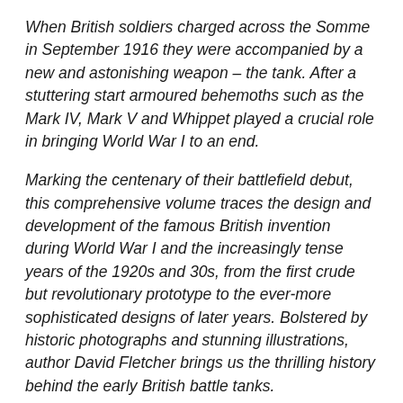When British soldiers charged across the Somme in September 1916 they were accompanied by a new and astonishing weapon – the tank. After a stuttering start armoured behemoths such as the Mark IV, Mark V and Whippet played a crucial role in bringing World War I to an end.
Marking the centenary of their battlefield debut, this comprehensive volume traces the design and development of the famous British invention during World War I and the increasingly tense years of the 1920s and 30s, from the first crude but revolutionary prototype to the ever-more sophisticated designs of later years. Bolstered by historic photographs and stunning illustrations, author David Fletcher brings us the thrilling history behind the early British battle tanks.